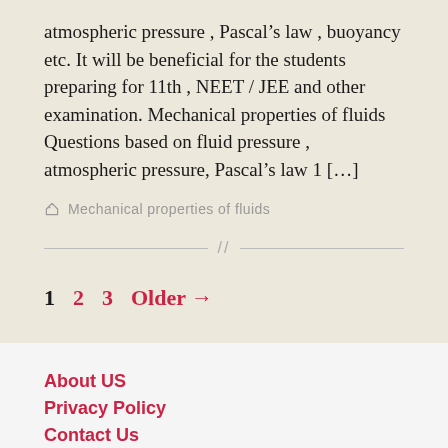atmospheric pressure , Pascal’s law , buoyancy etc. It will be beneficial for the students preparing for 11th , NEET / JEE and other examination. Mechanical properties of fluids Questions based on fluid pressure , atmospheric pressure, Pascal’s law 1 […]
Mechanical properties of fluids
1  2  3  Older →
About US
Privacy Policy
Contact Us